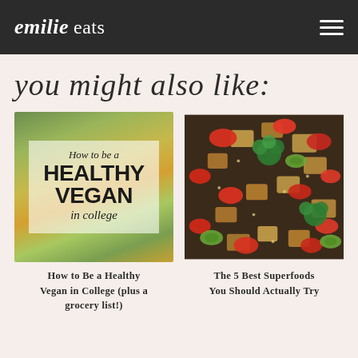emilie eats
you might also like:
[Figure (photo): Food blog article thumbnail showing vegetables with text overlay 'How to be a HEALTHY VEGAN in college']
How to Be a Healthy Vegan in College (plus a grocery list!)
[Figure (photo): Food blog article thumbnail showing roasted vegetables including broccoli, red peppers, zucchini, and tofu on a baking sheet]
The 5 Best Superfoods You Should Actually Try